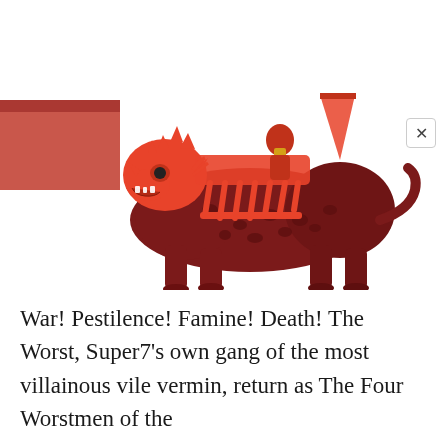[Figure (photo): A red and dark maroon action figure of a large beast/panther-like creature with a spiky red dragon head, red skeletal rider on top, and ornate red decorative saddle/armor. The figure is photographed against a white background. A red box is partially visible in the top left corner. A close/X button appears in the upper right area.]
War! Pestilence! Famine! Death! The Worst, Super7's own gang of the most villainous vile vermin, return as The Four Worstmen of the